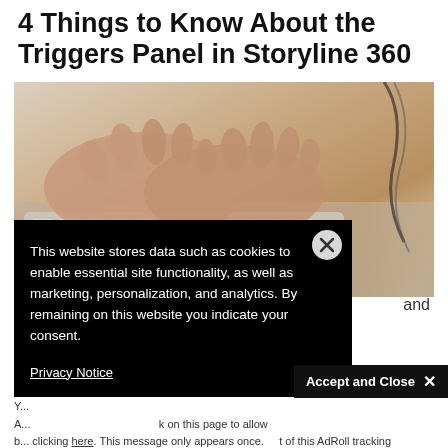4 Things to Know About the Triggers Panel in Storyline 360
[Figure (photo): Close-up photo of hands typing on a white Apple keyboard on a light wooden desk surface]
This website stores data such as cookies to enable essential site functionality, as well as marketing, personalization, and analytics. By remaining on this website you indicate your consent.
Privacy Notice
Accept and Close ✕
Y... A... b... clicking here. This message only appears once.